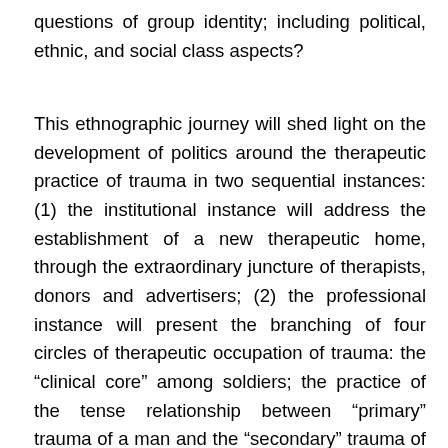questions of group identity; including political, ethnic, and social class aspects?
This ethnographic journey will shed light on the development of politics around the therapeutic practice of trauma in two sequential instances: (1) the institutional instance will address the establishment of a new therapeutic home, through the extraordinary juncture of therapists, donors and advertisers; (2) the professional instance will present the branching of four circles of therapeutic occupation of trauma: the “clinical core” among soldiers; the practice of the tense relationship between “primary” trauma of a man and the “secondary” trauma of a woman, his spouse; the growing distance from the “clinical mothership,” for the sake of intervention among “risk groups” from Be’er-Sheva in the South to